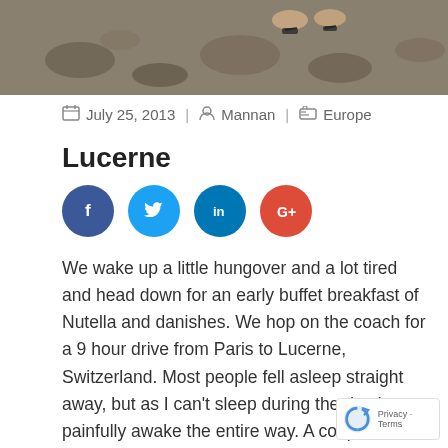[Figure (photo): Partial photo showing feet/sandals on rocky ground, cropped at top of page]
July 25, 2013  |  Mannan  |  Europe
Lucerne
[Figure (infographic): Social media share buttons: Facebook, Twitter, LinkedIn, Google+]
We wake up a little hungover and a lot tired and head down for an early buffet breakfast of Nutella and danishes. We hop on the coach for a 9 hour drive from Paris to Lucerne, Switzerland. Most people fell asleep straight away, but as I can't sleep during the day I was painfully awake the entire way. A couple of hours into the trip, the Tour Manager introduces us to a game that is constantly on. If you say the word 'mine' you have to do 10 push ups, wherever you may be. Since then we have had people do pushups in restaurants, boats, buses, foot paths, river walks, car parks and much